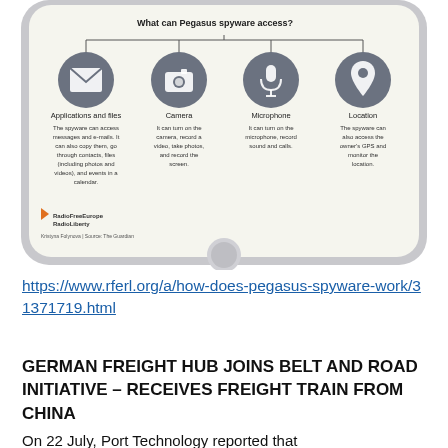[Figure (infographic): Tablet device infographic showing 'What can Pegasus spyware access?' with four icons: Applications and files (envelope icon), Camera (camera icon), Microphone (microphone icon), Location (pin icon), each with descriptive text. Radio Free Europe Radio Liberty logo and credit 'Kristyna Folynova | Source: The Guardian' at bottom.]
https://www.rferl.org/a/how-does-pegasus-spyware-work/31371719.html
GERMAN FREIGHT HUB JOINS BELT AND ROAD INITIATIVE – RECEIVES FREIGHT TRAIN FROM CHINA
On 22 July, Port Technology reported that